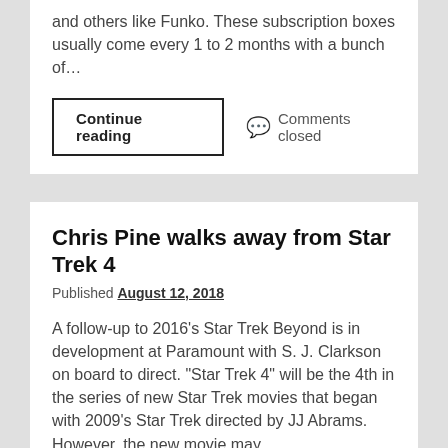and others like Funko. These subscription boxes usually come every 1 to 2 months with a bunch of...
Continue reading
Comments closed
Chris Pine walks away from Star Trek 4
Published August 12, 2018
A follow-up to 2016's Star Trek Beyond is in development at Paramount with S. J. Clarkson on board to direct. "Star Trek 4" will be the 4th in the series of new Star Trek movies that began with 2009's Star Trek directed by JJ Abrams. However, the new movie may...
Continue reading
Comments closed